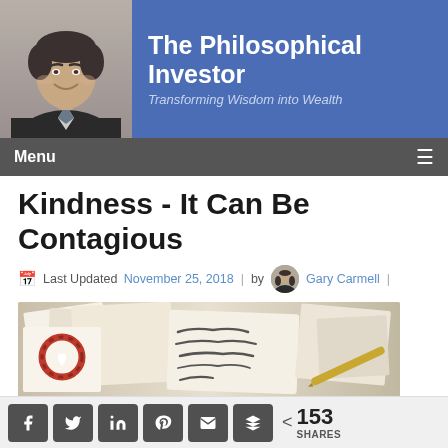[Figure (photo): Website header banner with blue background showing a man in a suit on the left and the text 'The Philosophical Investor - Transforming Wisdom into Wealth' on the right]
Menu ≡
Kindness - It Can Be Contagious
Last Updated November 25, 2018 | by Gary Carmell |
[Figure (photo): Article header image showing greeting cards and handwritten notes with a decorative red wreath with a heart]
< 153 SHARES (with social sharing buttons for Facebook, Twitter, LinkedIn, Pinterest, Email, and Buffer)